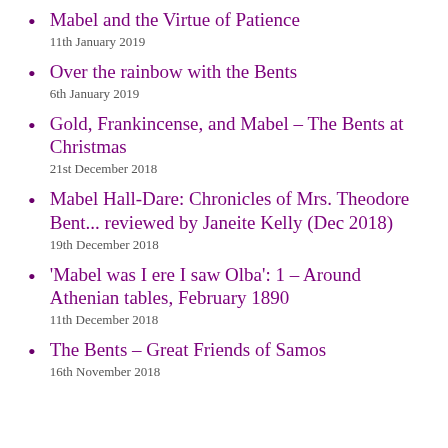Mabel and the Virtue of Patience
11th January 2019
Over the rainbow with the Bents
6th January 2019
Gold, Frankincense, and Mabel – The Bents at Christmas
21st December 2018
Mabel Hall-Dare: Chronicles of Mrs. Theodore Bent... reviewed by Janeite Kelly (Dec 2018)
19th December 2018
'Mabel was I ere I saw Olba': 1 – Around Athenian tables, February 1890
11th December 2018
The Bents – Great Friends of Samos
16th November 2018